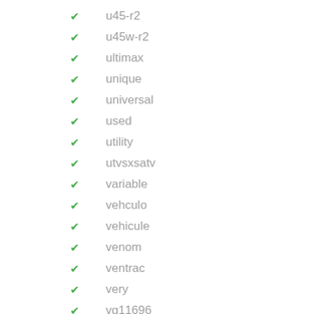u45-r2
u45w-r2
ultimax
unique
universal
used
utility
utvsxsatv
variable
vehculo
vehicule
venom
ventrac
very
vg11696
vga10978
video
vinyl